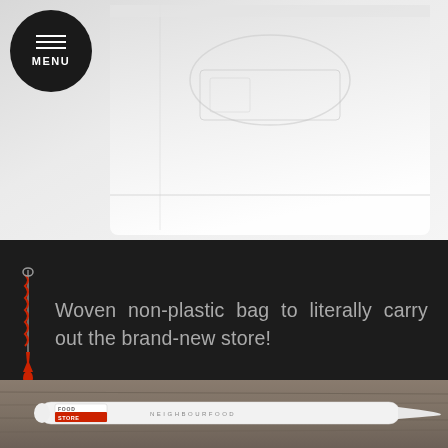[Figure (photo): White woven non-plastic bag with embossed graphics, photographed from above on white background. Menu button circle (dark) in top left corner.]
MENU
Woven non-plastic bag to literally carry out the brand-new store!
[Figure (photo): White branded pen/stylus lying on a wooden surface. Labelled FOOD STORE and NEIGHBOURFOOD.]